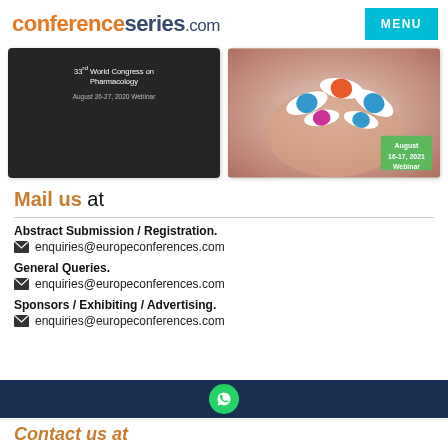conferenceseries.com
[Figure (screenshot): Two conference/event images side by side: left shows a dark background with '33rd World Congress on Pharmacology, August 26-27, 2020 Webinar'; right shows a hand holding colorful pills/capsules with 'August 16-17, 2021 Webinar' badge]
Mail us at
Abstract Submission / Registration.
enquiries@europeconferences.com
General Queries.
enquiries@europeconferences.com
Sponsors / Exhibiting / Advertising.
enquiries@europeconferences.com
[Figure (logo): WhatsApp button icon in dark blue footer bar]
Contact us at